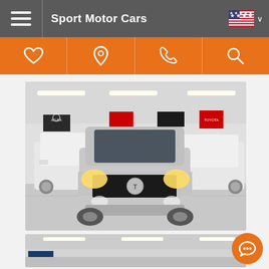Sport Motor Cars
[Figure (screenshot): Website screenshot of Sport Motor Cars dealership page showing header with hamburger menu, brand name, and US flag; orange navigation bar with heart, location pin, phone, and search icons; main content area showing a silver Toyota Tacoma truck photographed front-on inside a dealership showroom with other vehicles (Mercedes SUV and Porsche SUV visible), and a partial second image below.]